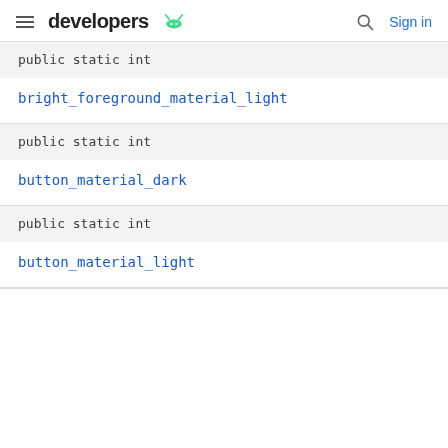developers | Sign in
public static int
bright_foreground_material_light
public static int
button_material_dark
public static int
button_material_light